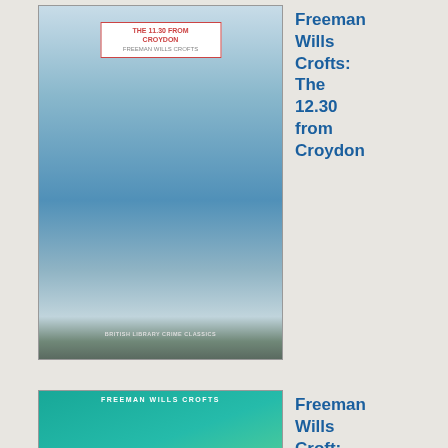[Figure (illustration): Book cover: The 12.30 from Croydon by Freeman Wills Crofts, showing aerial coastal scene with cliffs and sea]
Freeman Wills Crofts: The 12.30 from Croydon
[Figure (illustration): Book cover: Crime at Guildford by Freeman Wills Crofts, showing two figures in silhouette against colorful travel-poster style background]
Freeman Wills Croft: Crime at Guildford
[Figure (illustration): Book cover: Loss of the Jane by Freeman Wills Crofts, showing tropical/colorful artwork]
Freeman Wills Croft: Loss of the Jane
Jo Bu - Mr Sta l am wo my wa thr the Ric Ha boc of this aut